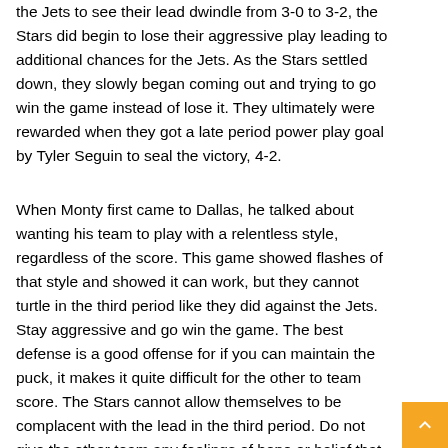the Jets to see their lead dwindle from 3-0 to 3-2, the Stars did begin to lose their aggressive play leading to additional chances for the Jets. As the Stars settled down, they slowly began coming out and trying to go win the game instead of lose it. They ultimately were rewarded when they got a late period power play goal by Tyler Seguin to seal the victory, 4-2.
When Monty first came to Dallas, he talked about wanting his team to play with a relentless style, regardless of the score. This game showed flashes of that style and showed it can work, but they cannot turtle in the third period like they did against the Jets. Stay aggressive and go win the game. The best defense is a good offense for if you can maintain the puck, it makes it quite difficult for the other to team score. The Stars cannot allow themselves to be complacent with the lead in the third period. Do not give the other team any feelings of hope or belief that they can come back and win the game.